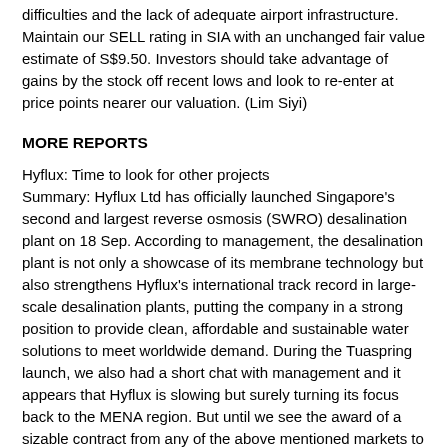difficulties and the lack of adequate airport infrastructure. Maintain our SELL rating in SIA with an unchanged fair value estimate of S$9.50. Investors should take advantage of gains by the stock off recent lows and look to re-enter at price points nearer our valuation. (Lim Siyi)
MORE REPORTS
Hyflux: Time to look for other projects
Summary: Hyflux Ltd has officially launched Singapore's second and largest reverse osmosis (SWRO) desalination plant on 18 Sep. According to management, the desalination plant is not only a showcase of its membrane technology but also strengthens Hyflux's international track record in large-scale desalination plants, putting the company in a strong position to provide clean, affordable and sustainable water solutions to meet worldwide demand. During the Tuaspring launch, we also had a short chat with management and it appears that Hyflux is slowing but surely turning its focus back to the MENA region. But until we see the award of a sizable contract from any of the above mentioned markets to replenish its order book, we opt to maintain our HOLD rating